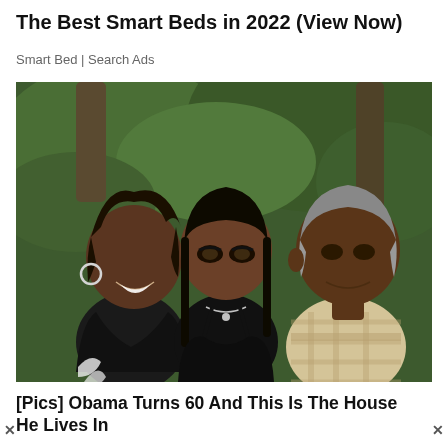The Best Smart Beds in 2022 (View Now)
Smart Bed | Search Ads
[Figure (photo): Family photo of three people posing together outdoors with trees in background. A woman on the left in a black outfit, a young woman in the center in a black dress with a necklace, and a man on the right in a plaid shirt.]
[Pics] Obama Turns 60 And This Is The House He Lives In